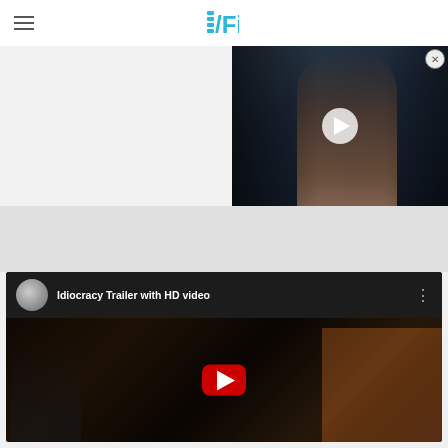/Film
[Figure (screenshot): Video overlay in top-right corner showing a dark-haired woman in a sci-fi scene with a play button overlay, and a close (X) button]
[Figure (screenshot): YouTube embedded video player showing 'Idiocracy Trailer with HD video' with a channel avatar, red YouTube play button, and a movie scene with people in orange jumpsuits]